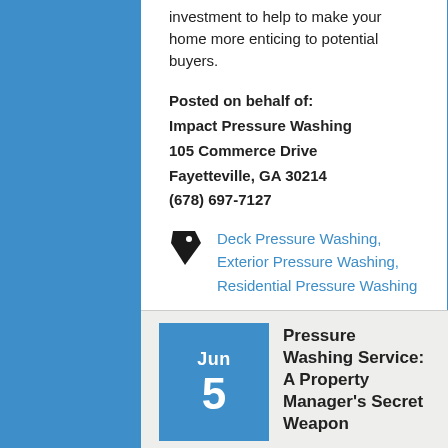investment to help to make your home more enticing to potential buyers.
Posted on behalf of:
Impact Pressure Washing
105 Commerce Drive
Fayetteville, GA 30214
(678) 697-7127
Deck Pressure Washing, Exterior Pressure Washing, Residential Pressure Washing
Read More...
Pressure Washing Service: A Property Manager's Secret Weapon
Posted in Pressure Washing
Like 0   Tweet   Save